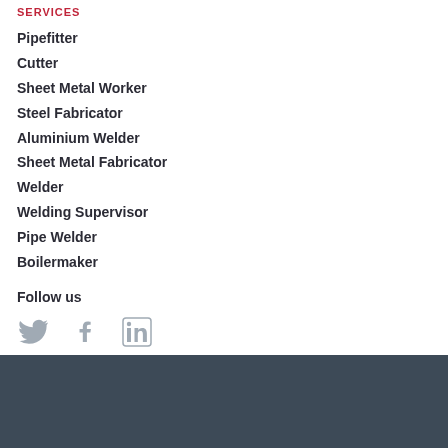SERVICES
Pipefitter
Cutter
Sheet Metal Worker
Steel Fabricator
Aluminium Welder
Sheet Metal Fabricator
Welder
Welding Supervisor
Pipe Welder
Boilermaker
Follow us
[Figure (infographic): Social media icons: Twitter bird, Facebook F, LinkedIn in]